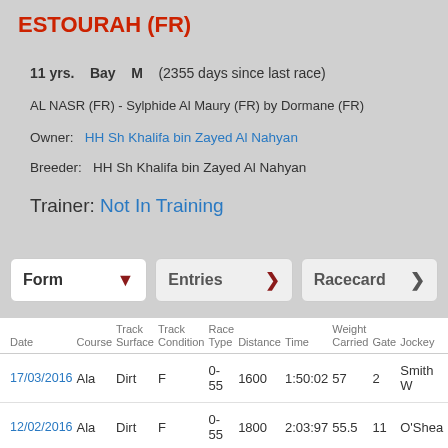ESTOURAH (FR)
11 yrs.    Bay    M    (2355 days since last race)
AL NASR (FR) - Sylphide Al Maury (FR) by Dormane (FR)
Owner:   HH Sh Khalifa bin Zayed Al Nahyan
Breeder:   HH Sh Khalifa bin Zayed Al Nahyan
Trainer: Not In Training
| Date | Course | Track Surface | Track Condition | Race Type | Distance | Time | Weight Carried | Gate | Jockey |
| --- | --- | --- | --- | --- | --- | --- | --- | --- | --- |
| 17/03/2016 | Ala | Dirt | F | 0-55 | 1600 | 1:50:02 | 57 | 2 | Smith W |
| 12/02/2016 | Ala | Dirt | F | 0-55 | 1800 | 2:03:97 | 55.5 | 11 | O'Shea |
| 15/01/2016 | Ala | Dirt | F | 0-45 | 2000 | 2:18:21 | 60 | 14 | Avranch |